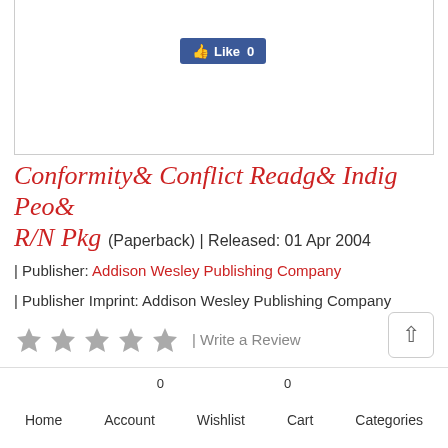[Figure (screenshot): Facebook Like button showing 'Like 0' in a blue button]
Conformity& Conflict Readg& Indig Peo& R/N Pkg (Paperback) | Released: 01 Apr 2004
| Publisher: Addison Wesley Publishing Company
| Publisher Imprint: Addison Wesley Publishing Company
[Figure (other): Five grey stars rating with 'Write a Review' link]
Rs.5,120
Home  Account  Wishlist 0  Cart 0  Categories